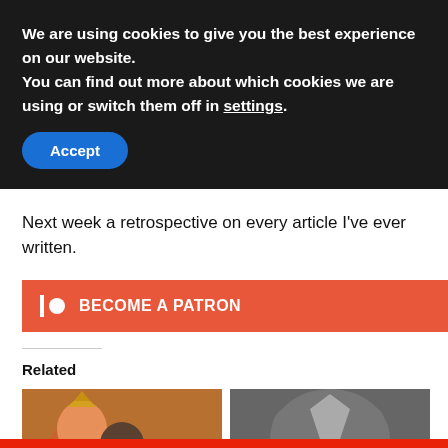We are using cookies to give you the best experience on our website.
You can find out more about which cookies we are using or switch them off in settings.
Accept
Next week a retrospective on every article I've ever written.
BECOME A PATRON
Related
[Figure (illustration): Two related article thumbnail images side by side - left shows cartoon game characters, right shows a dark fantasy scene. An advertisement banner overlays the bottom: BitLife - Start a New Life with FAIL text.]